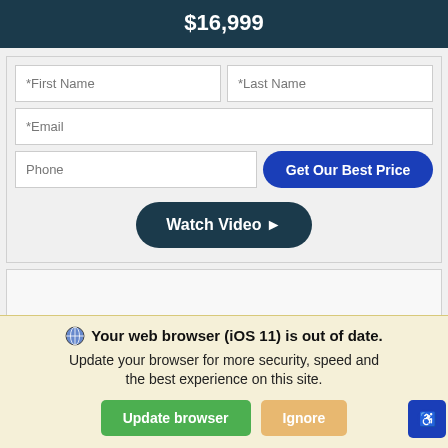$16,999
[Figure (screenshot): A web form with First Name, Last Name, Email, Phone fields and a 'Get Our Best Price' button, plus a 'Watch Video' button below.]
Your web browser (iOS 11) is out of date. Update your browser for more security, speed and the best experience on this site.
Update browser | Ignore